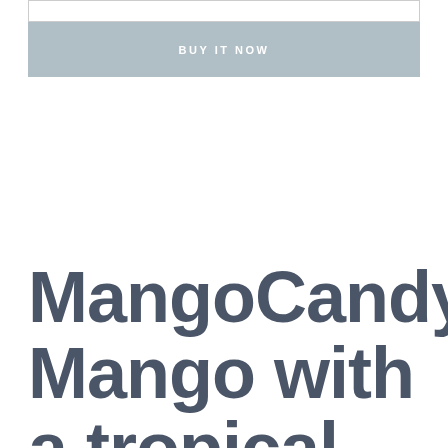[Figure (screenshot): Input form field (empty text input box)]
[Figure (screenshot): BUY IT NOW button with light blue-grey background]
MangoCandy Mango with a tropical twist, other